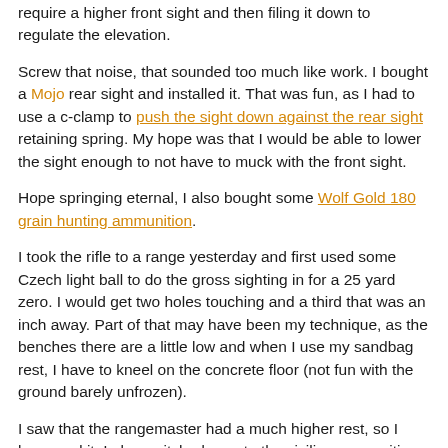require a higher front sight and then filing it down to regulate the elevation.
Screw that noise, that sounded too much like work. I bought a Mojo rear sight and installed it. That was fun, as I had to use a c-clamp to push the sight down against the rear sight retaining spring. My hope was that I would be able to lower the sight enough to not have to muck with the front sight.
Hope springing eternal, I also bought some Wolf Gold 180 grain hunting ammunition.
I took the rifle to a range yesterday and first used some Czech light ball to do the gross sighting in for a 25 yard zero. I would get two holes touching and a third that was an inch away. Part of that may have been my technique, as the benches there are a little low and when I use my sandbag rest, I have to kneel on the concrete floor (not fun with the ground barely unfrozen).
I saw that the rangemaster had a much higher rest, so I borrowed it. I also switched over to the civilian ammunition.